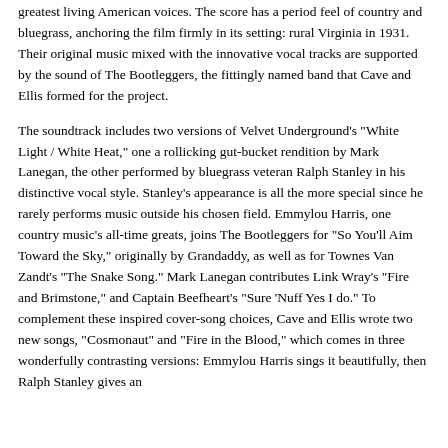greatest living American voices. The score has a period feel of country and bluegrass, anchoring the film firmly in its setting: rural Virginia in 1931. Their original music mixed with the innovative vocal tracks are supported by the sound of The Bootleggers, the fittingly named band that Cave and Ellis formed for the project.
The soundtrack includes two versions of Velvet Underground's "White Light / White Heat," one a rollicking gut-bucket rendition by Mark Lanegan, the other performed by bluegrass veteran Ralph Stanley in his distinctive vocal style. Stanley's appearance is all the more special since he rarely performs music outside his chosen field. Emmylou Harris, one country music's all-time greats, joins The Bootleggers for "So You'll Aim Toward the Sky," originally by Grandaddy, as well as for Townes Van Zandt's "The Snake Song." Mark Lanegan contributes Link Wray's "Fire and Brimstone," and Captain Beefheart's "Sure 'Nuff Yes I do." To complement these inspired cover-song choices, Cave and Ellis wrote two new songs, "Cosmonaut" and "Fire in the Blood," which comes in three wonderfully contrasting versions: Emmylou Harris sings it beautifully, then Ralph Stanley gives an